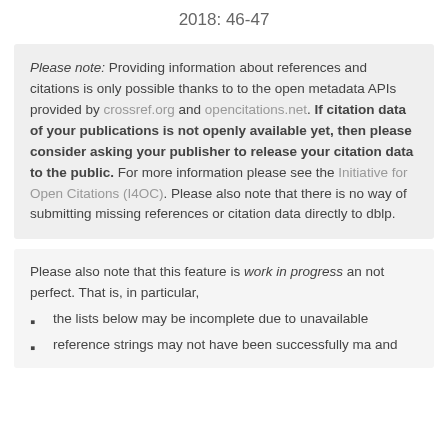2018: 46-47
Please note: Providing information about references and citations is only possible thanks to to the open metadata APIs provided by crossref.org and opencitations.net. If citation data of your publications is not openly available yet, then please consider asking your publisher to release your citation data to the public. For more information please see the Initiative for Open Citations (I4OC). Please also note that there is no way of submitting missing references or citation data directly to dblp.
Please also note that this feature is work in progress and not perfect. That is, in particular,
the lists below may be incomplete due to unavailable
reference strings may not have been successfully ma and